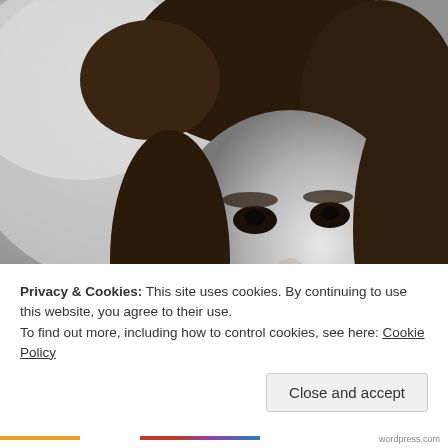[Figure (photo): Black and white close-up photograph of a young person with medium-length dark hair, smiling, looking upward slightly. The photo has a grainy, vintage quality.]
Privacy & Cookies: This site uses cookies. By continuing to use this website, you agree to their use.
To find out more, including how to control cookies, see here: Cookie Policy
Close and accept